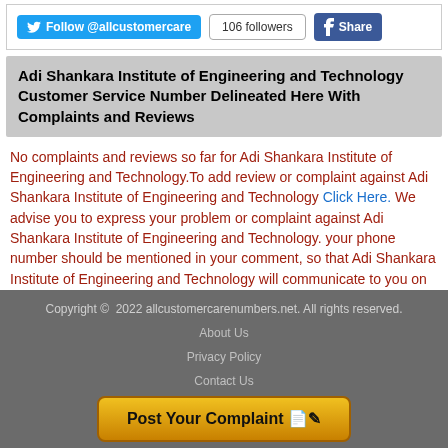[Figure (other): Twitter Follow button showing @allcustomercare, 106 followers badge, and Facebook Share button]
Adi Shankara Institute of Engineering and Technology Customer Service Number Delineated Here With Complaints and Reviews
No complaints and reviews so far for Adi Shankara Institute of Engineering and Technology.To add review or complaint against Adi Shankara Institute of Engineering and Technology Click Here. We advise you to express your problem or complaint against Adi Shankara Institute of Engineering and Technology. your phone number should be mentioned in your comment, so that Adi Shankara Institute of Engineering and Technology will communicate to you on your phone number mentioned in your comment.
Copyright © 2022 allcustomercarenumbers.net. All rights reserved.
About Us
Privacy Policy
Contact Us
Post Your Complaint